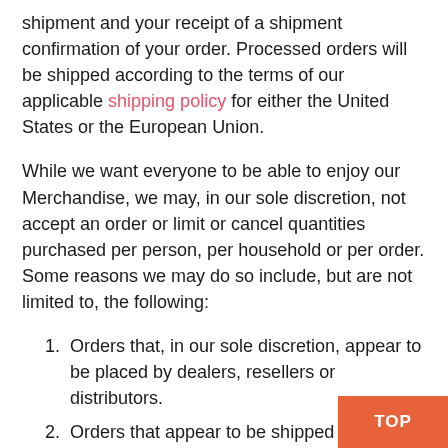shipment and your receipt of a shipment confirmation of your order. Processed orders will be shipped according to the terms of our applicable shipping policy for either the United States or the European Union.
While we want everyone to be able to enjoy our Merchandise, we may, in our sole discretion, not accept an order or limit or cancel quantities purchased per person, per household or per order. Some reasons we may do so include, but are not limited to, the following:
Orders that, in our sole discretion, appear to be placed by dealers, resellers or distributors.
Orders that appear to be shipped to a freight forwarding company for reshipment.
Orders that are in violation of the ZIN&trade and/or SYNC License Agreement.
Orders that cannot be processed as a result of incorrect or invalid billing, shipping or payment